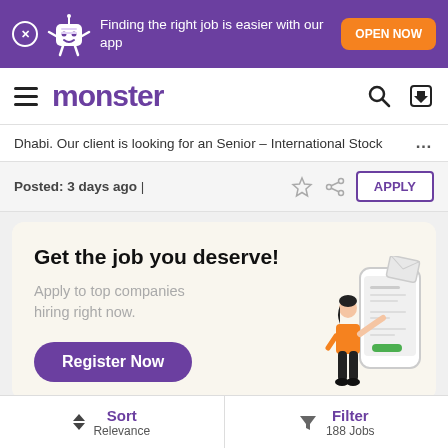[Figure (screenshot): Purple promotional banner with X close button, Monster mascot character, text 'Finding the right job is easier with our app', and orange 'OPEN NOW' button]
monster
Dhabi. Our client is looking for an Senior – International Stock ...
Posted: 3 days ago |
[Figure (infographic): Ad card with cream background: 'Get the job you deserve!' headline, 'Apply to top companies hiring right now.' subtext, 'Register Now' purple pill button, illustration of woman with smartphone]
Sort Relevance
Filter 188 Jobs